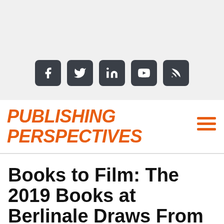[Figure (other): Social media icons bar with Facebook, Twitter, LinkedIn, YouTube, and RSS icons on a light grey background]
[Figure (logo): Publishing Perspectives logo in bold orange italic text]
Books to Film: The 2019 Books at Berlinale Draws From Biggest Submission